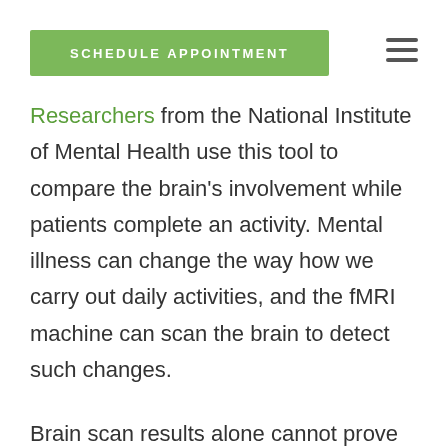SCHEDULE APPOINTMENT
Researchers from the National Institute of Mental Health use this tool to compare the brain's involvement while patients complete an activity. Mental illness can change the way how we carry out daily activities, and the fMRI machine can scan the brain to detect such changes.
Brain scan results alone cannot prove the presence of a mental illness. It is still important to seek a mental health expert for